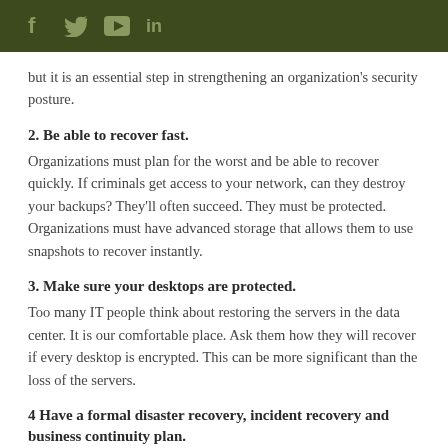f  🐦  ▶  in
but it is an essential step in strengthening an organization's security posture.
2. Be able to recover fast.
Organizations must plan for the worst and be able to recover quickly. If criminals get access to your network, can they destroy your backups? They'll often succeed. They must be protected. Organizations must have advanced storage that allows them to use snapshots to recover instantly.
3. Make sure your desktops are protected.
Too many IT people think about restoring the servers in the data center. It is our comfortable place. Ask them how they will recover if every desktop is encrypted. This can be more significant than the loss of the servers.
4 Have a formal disaster recovery, incident recovery and business continuity plan.